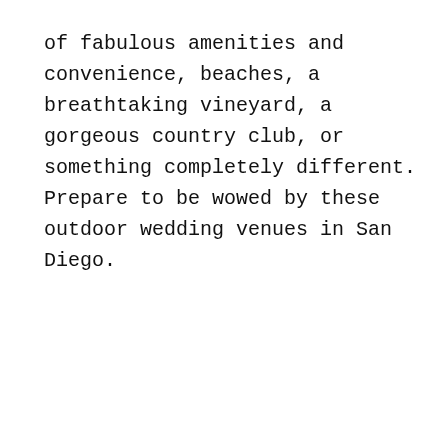of fabulous amenities and convenience, beaches, a breathtaking vineyard, a gorgeous country club, or something completely different. Prepare to be wowed by these outdoor wedding venues in San Diego.